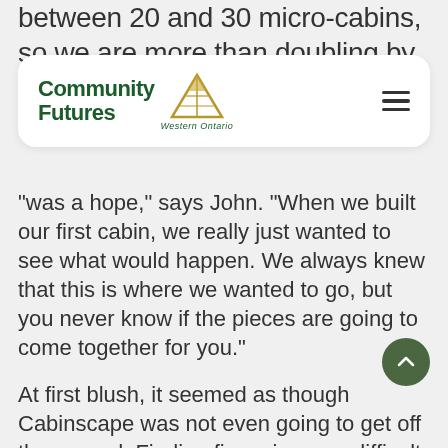between 20 and 30 micro-cabins, so we are more than doubling by next
[Figure (logo): Community Futures Western Ontario logo with hamburger menu]
“was a hope,” says John. “When we built our first cabin, we really just wanted to see what would happen. We always knew that this is where we wanted to go, but you never know if the pieces are going to come together for you.”
At first blush, it seemed as though Cabinscape was not even going to get off the ground. Finding financing was difficult, but financial institutions steered the couple towards Community Futures Huron.
Says John, “I looked at a lot of banks and they were not really interested in this kind of venture, at this stage. As